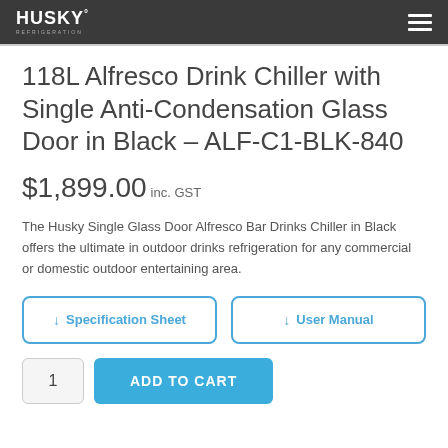HUSKY REFRIGERATION
118L Alfresco Drink Chiller with Single Anti-Condensation Glass Door in Black – ALF-C1-BLK-840
$1,899.00 inc. GST
The Husky Single Glass Door Alfresco Bar Drinks Chiller in Black offers the ultimate in outdoor drinks refrigeration for any commercial or domestic outdoor entertaining area.
↓ Specification Sheet
↓ User Manual
1  ADD TO CART